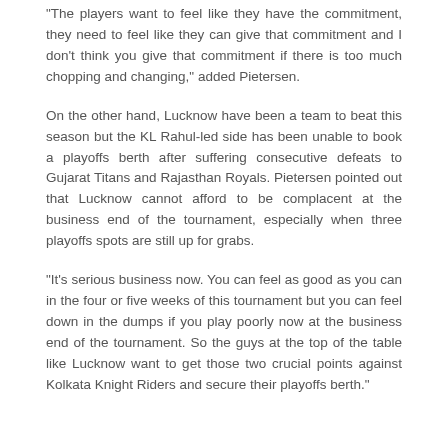"The players want to feel like they have the commitment, they need to feel like they can give that commitment and I don't think you give that commitment if there is too much chopping and changing," added Pietersen.
On the other hand, Lucknow have been a team to beat this season but the KL Rahul-led side has been unable to book a playoffs berth after suffering consecutive defeats to Gujarat Titans and Rajasthan Royals. Pietersen pointed out that Lucknow cannot afford to be complacent at the business end of the tournament, especially when three playoffs spots are still up for grabs.
"It's serious business now. You can feel as good as you can in the four or five weeks of this tournament but you can feel down in the dumps if you play poorly now at the business end of the tournament. So the guys at the top of the table like Lucknow want to get those two crucial points against Kolkata Knight Riders and secure their playoffs berth."